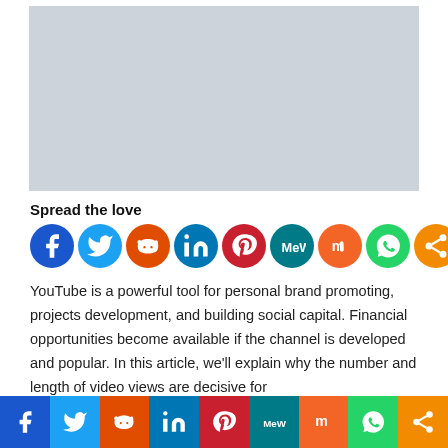[Figure (other): Gray placeholder image rectangle]
Spread the love
[Figure (infographic): Row of 9 social sharing icon circles: Facebook, Twitter, Reddit, LinkedIn, Pinterest, MeWe, Mix, WhatsApp, Share]
YouTube is a powerful tool for personal brand promoting, projects development, and building social capital. Financial opportunities become available if the channel is developed and popular. In this article, we'll explain why the number and length of video views are decisive for
[Figure (infographic): Bottom social sharing bar with 9 colored buttons: Facebook, Twitter, Reddit, LinkedIn, Pinterest, MeWe, Mix, WhatsApp, Share]